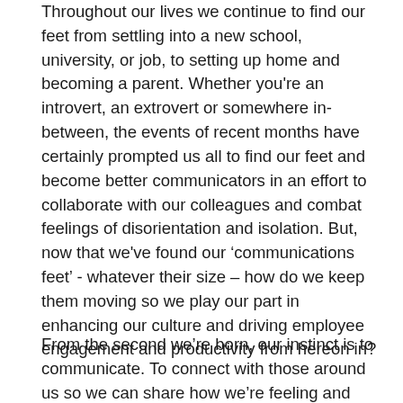Throughout our lives we continue to find our feet from settling into a new school, university, or job, to setting up home and becoming a parent. Whether you're an introvert, an extrovert or somewhere in-between, the events of recent months have certainly prompted us all to find our feet and become better communicators in an effort to collaborate with our colleagues and combat feelings of disorientation and isolation. But, now that we've found our 'communications feet' - whatever their size – how do we keep them moving so we play our part in enhancing our culture and driving employee engagement and productivity from hereon in?
From the second we're born, our instinct is to communicate. To connect with those around us so we can share how we're feeling and exchange ideas through sounds, expressions and gestures. While the power of this interaction could never be disputed; the uncertainty and trepidation of recent months has certainly magnified